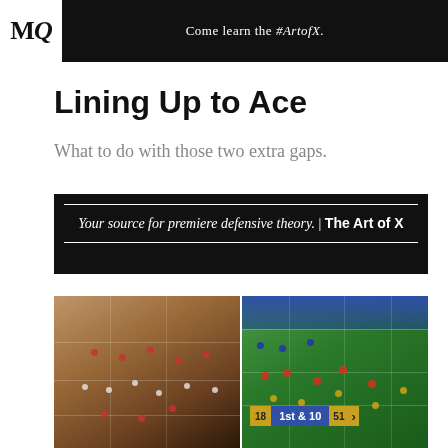MQ | Come learn the #ArtofX.
Lining Up to Ace
What to do with those two extra gaps.
[Figure (illustration): Black banner advertisement reading: Your source for premiere defensive theory. | The Art of X]
[Figure (photo): Two side-by-side American football game photos showing offensive and defensive formations on the field. Right photo shows scorebug reading 1st & 10.]